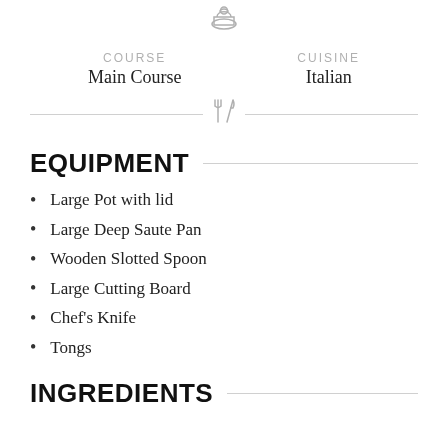[Figure (illustration): Chef hat icon centered at top]
COURSE
Main Course
CUISINE
Italian
[Figure (illustration): Fork and knife crossed icon on divider line]
EQUIPMENT
Large Pot with lid
Large Deep Saute Pan
Wooden Slotted Spoon
Large Cutting Board
Chef's Knife
Tongs
INGREDIENTS